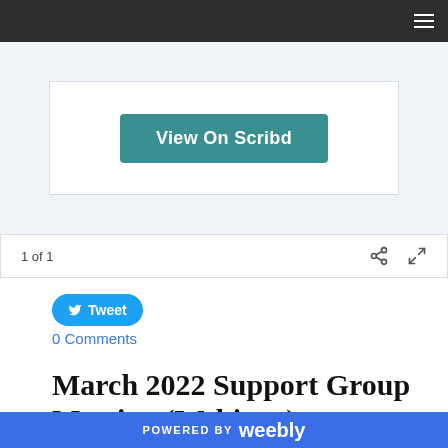[Figure (screenshot): Scribd embed viewer area with 'View On Scribd' teal button on light blue background]
1 of 1
Tweet
0 Comments
March 2022 Support Group Meeting (Webinar)
POWERED BY weebly